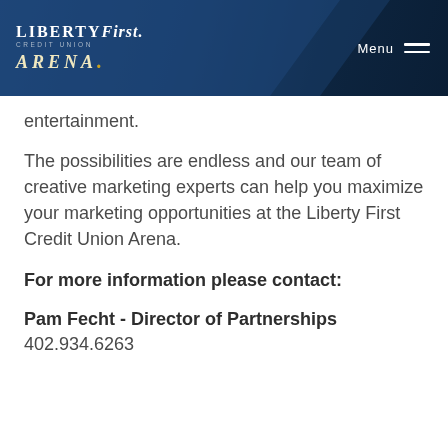Liberty First Credit Union Arena — Menu
entertainment.
The possibilities are endless and our team of creative marketing experts can help you maximize your marketing opportunities at the Liberty First Credit Union Arena.
For more information please contact:
Pam Fecht - Director of Partnerships
402.934.6263